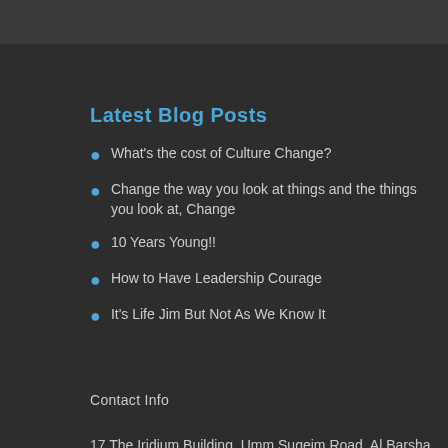Latest Blog Posts
What's the cost of Culture Change?
Change the way you look at things and the things you look at, Change
10 Years Young!!
How to Have Leadership Courage
It's Life Jim But Not As We Know It
Contact Info
17 The Iridium Building, Umm Suqeim Road, Al Barsha,